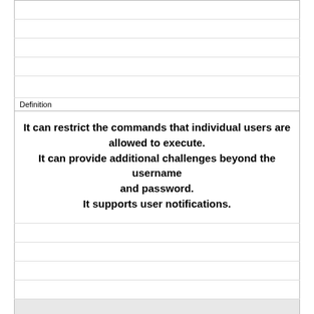| Definition |
| --- |
|  |
|  |
|  |
|  |
| It can restrict the commands that individual users are allowed to execute.
It can provide additional challenges beyond the username and password.
It supports user notifications. |
|  |
|  |
|  |
|  |
| Term |
| --- |
| Which configuration item is the default username for PPP local authentiation? |
|  |